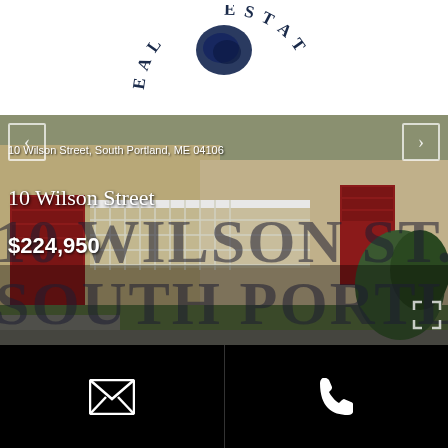[Figure (logo): Real Estate company logo — circular arc text reading E A L   E S T A T (partial, top of circle) with dark blue circular ink blot/stamp in center]
[Figure (photo): Exterior photo of a house at 10 Wilson Street, South Portland, ME 04106 — tan/beige siding, red garage doors, white lattice deck railing, green lawn and shrubs, driveway in foreground]
10 Wilson Street, South Portland, ME 04106
10 Wilson Street
10 WILSON ST., SOUTH PORTLAND, ME
$224,950
[Figure (infographic): Bottom contact bar with email icon (envelope) and phone icon on black background]